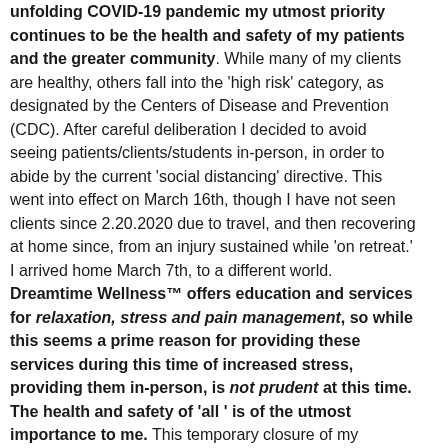unfolding COVID-19 pandemic my utmost priority continues to be the health and safety of my patients and the greater community. While many of my clients are healthy, others fall into the 'high risk' category, as designated by the Centers of Disease and Prevention (CDC). After careful deliberation I decided to avoid seeing patients/clients/students in-person, in order to abide by the current 'social distancing' directive. This went into effect on March 16th, though I have not seen clients since 2.20.2020 due to travel, and then recovering at home since, from an injury sustained while 'on retreat.' I arrived home March 7th, to a different world.
Dreamtime Wellness™ offers education and services for relaxation, stress and pain management, so while this seems a prime reason for providing these services during this time of increased stress, providing them in-person, is not prudent at this time.
The health and safety of 'all ' is of the utmost importance to me. This temporary closure of my physical office and in-person sessions/ classes is with your health, my